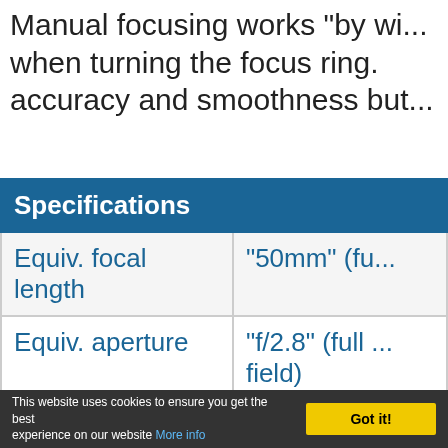Manual focusing works "by wi... when turning the focus ring. accuracy and smoothness but...
| Specifications |  |
| --- | --- |
| Equiv. focal length | "50mm" (fu... |
| Equiv. aperture | "f/2.8" (full ... field) |
| Optical construction | 8 elements... |
This website uses cookies to ensure you get the best experience on our website More info  Got it!